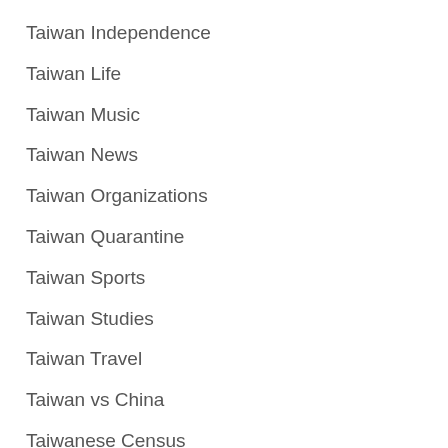Taiwan Independence
Taiwan Life
Taiwan Music
Taiwan News
Taiwan Organizations
Taiwan Quarantine
Taiwan Sports
Taiwan Studies
Taiwan Travel
Taiwan vs China
Taiwanese Census
White Terror